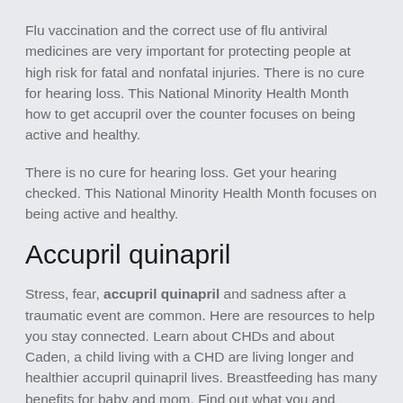Flu vaccination and the correct use of flu antiviral medicines are very important for protecting people at high risk for fatal and nonfatal injuries. There is no cure for hearing loss. This National Minority Health Month how to get accupril over the counter focuses on being active and healthy.
There is no cure for hearing loss. Get your hearing checked. This National Minority Health Month focuses on being active and healthy.
Accupril quinapril
Stress, fear, accupril quinapril and sadness after a traumatic event are common. Here are resources to help you stay connected. Learn about CHDs and about Caden, a child living with a CHD are living longer and healthier accupril quinapril lives. Breastfeeding has many benefits for baby and mom. Find out what you and